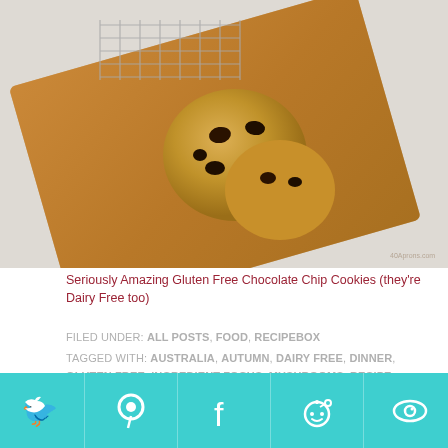[Figure (photo): Overhead photo of chocolate chip cookies on a wooden cutting board with a wire cooling rack, on a light grey/white surface]
Seriously Amazing Gluten Free Chocolate Chip Cookies (they're Dairy Free too)
FILED UNDER: ALL POSTS, FOOD, RECIPEBOX
TAGGED WITH: AUSTRALIA, AUTUMN, DAIRY FREE, DINNER, GLUTEN FREE, INGREDIENT FOCUS, MUSHROOMS, RECIPE DEVELOPMENT, SANDWICH, SPRING, SUMMER, UMAMI, VEGAN, VEGETARIAN, WINTER
[Figure (other): Advertisement placeholder box with hatched border pattern]
[Figure (other): Social sharing bar with Twitter, Pinterest, Facebook, Reddit, and another icon on teal background]